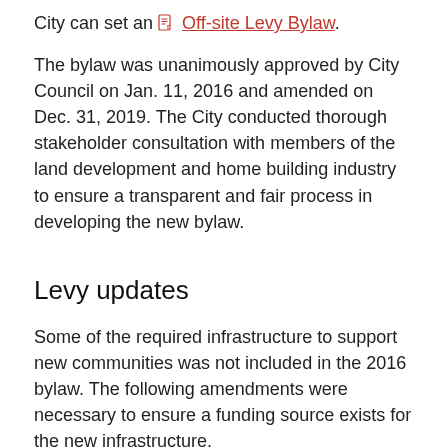City can set an Off-site Levy Bylaw.
The bylaw was unanimously approved by City Council on Jan. 11, 2016 and amended on Dec. 31, 2019. The City conducted thorough stakeholder consultation with members of the land development and home building industry to ensure a transparent and fair process in developing the new bylaw.
Levy updates
Some of the required infrastructure to support new communities was not included in the 2016 bylaw. The following amendments were necessary to ensure a funding source exists for the new infrastructure.
Nov. 12, 2018 - Council approved an amendment (Bylaw 41M2018) to incorporate the developer's